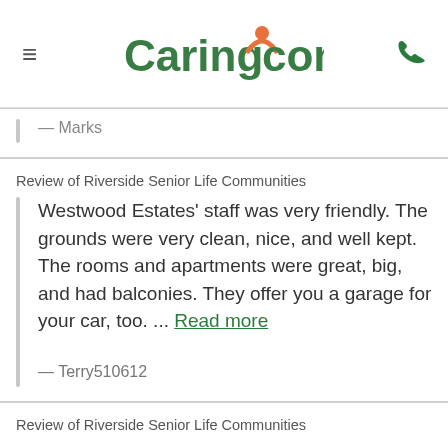Caring.com
— Marks
Review of Riverside Senior Life Communities
Westwood Estates' staff was very friendly. The grounds were very clean, nice, and well kept. The rooms and apartments were great, big, and had balconies. They offer you a garage for your car, too. ... Read more
— Terry510612
Review of Riverside Senior Life Communities